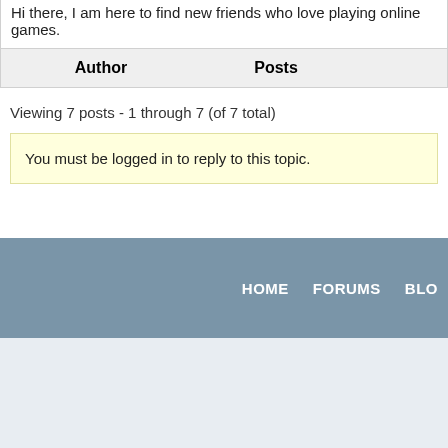Hi there, I am here to find new friends who love playing online games.
| Author | Posts |
| --- | --- |
Viewing 7 posts - 1 through 7 (of 7 total)
You must be logged in to reply to this topic.
HOME   FORUMS   BLO...